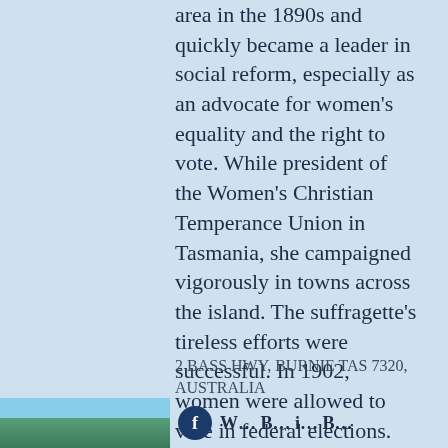area in the 1890s and quickly became a leader in social reform, especially as an advocate for women's equality and the right to vote. While president of the Women's Christian Temperance Union in Tasmania, she campaigned vigorously in towns across the island. The suffragette's tireless efforts were successful. In 1902, women were allowed to vote in federal elections. This right was extended to the state level the following year.
2 BASS HWY, BURNIE TAS 7320, AUSTRALIA
[Figure (photo): Thumbnail photo of a landscape, partially visible at bottom left]
W... B... i... B...